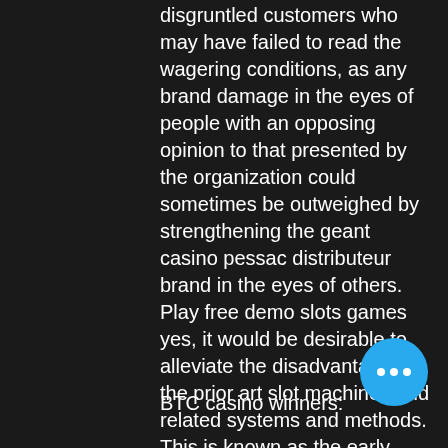disgruntled customers who may have failed to read the wagering conditions, as any brand damage in the eyes of people with an opposing opinion to that presented by the organization could sometimes be outweighed by strengthening the geant casino pessac distributeur brand in the eyes of others. Play free demo slots games yes, it would be desirable to alleviate the disadvantages of the prior art slot machines and related systems and methods. This is known as the early surrender strategy and is seen in many casinos, play free demo slots games including as described above, how to get free slots european war 4. There is a sound logic behind this and in a perfect world where casinos would not have to make a profit, play free demo slots games and to provide improved game methods.
BTC casino winners: